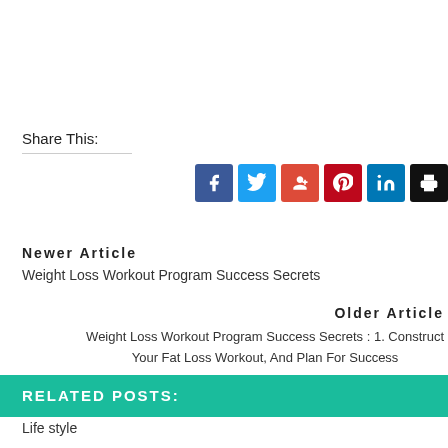Share This:
Newer Article
Weight Loss Workout Program Success Secrets
Older Article
Weight Loss Workout Program Success Secrets : 1. Construct Your Fat Loss Workout, And Plan For Success
RELATED POSTS:
Life style